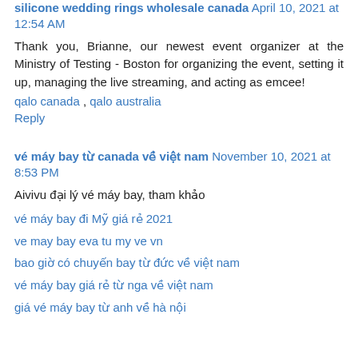silicone wedding rings wholesale canada April 10, 2021 at 12:54 AM
Thank you, Brianne, our newest event organizer at the Ministry of Testing - Boston for organizing the event, setting it up, managing the live streaming, and acting as emcee!
qalo canada , qalo australia
Reply
vé máy bay từ canada về việt nam November 10, 2021 at 8:53 PM
Aivivu đại lý vé máy bay, tham khảo
vé máy bay đi Mỹ giá rẻ 2021
ve may bay eva tu my ve vn
bao giờ có chuyến bay từ đức về việt nam
vé máy bay giá rẻ từ nga về việt nam
giá vé máy bay từ anh về hà nội